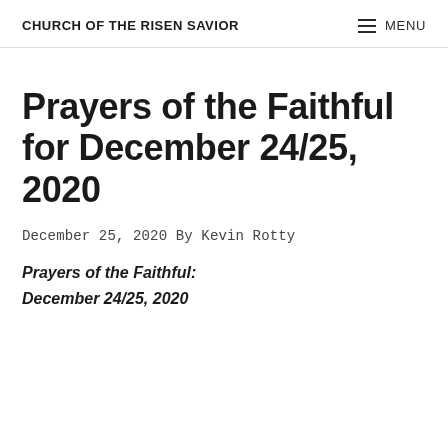CHURCH OF THE RISEN SAVIOR   ≡ MENU
Prayers of the Faithful for December 24/25, 2020
December 25, 2020 By Kevin Rotty
Prayers of the Faithful:
December 24/25, 2020